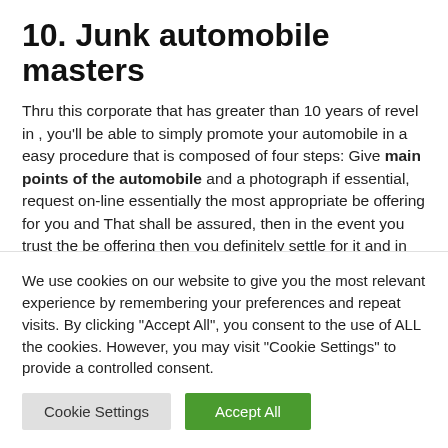10. Junk automobile masters
Thru this corporate that has greater than 10 years of revel in , you'll be able to simply promote your automobile in a easy procedure that is composed of four steps: Give main points of the automobile and a photograph if essential, request on-line essentially the most appropriate be offering for you and That shall be assured, then in the event you trust the be offering then you definitely settle for it and in any case you are going to obtain your cost between 24 and 48 hours. All with the most efficient costs and with unfastened trailer all through the nationwide
We use cookies on our website to give you the most relevant experience by remembering your preferences and repeat visits. By clicking "Accept All", you consent to the use of ALL the cookies. However, you may visit "Cookie Settings" to provide a controlled consent.